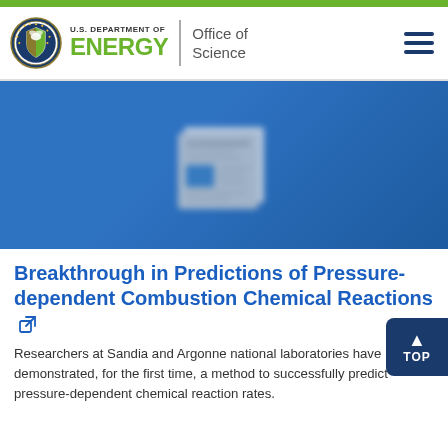U.S. DEPARTMENT OF ENERGY | Office of Science
[Figure (photo): Blue banner image with blurred newspaper/document icon in the center, representing a news article highlight on the DOE Office of Science website.]
Breakthrough in Predictions of Pressure-dependent Combustion Chemical Reactions
Researchers at Sandia and Argonne national laboratories have demonstrated, for the first time, a method to successfully predict pressure-dependent chemical reaction rates.